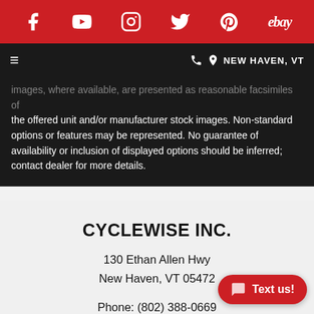[Figure (other): Red social media bar with icons for Facebook, YouTube, Instagram, Twitter, Pinterest, and eBay]
≡   📞 📍 NEW HAVEN, VT
images, where available, are presented as reasonable facsimiles of the offered unit and/or manufacturer stock images. Non-standard options or features may be represented. No guarantee of availability or inclusion of displayed options should be inferred; contact dealer for more details.
CYCLEWISE INC.
130 Ethan Allen Hwy
New Haven, VT 05472
Phone: (802) 388-0669
Toll Free: (877) 973-2727